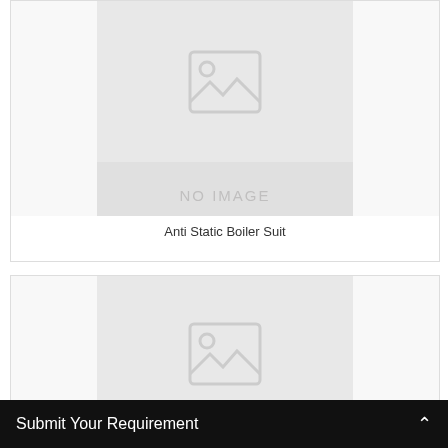[Figure (photo): Product listing card with no image placeholder showing mountain/image icon and NO IMAGE text for Anti Static Boiler Suit]
Anti Static Boiler Suit
[Figure (photo): Second product listing card with no image placeholder showing mountain/image icon]
Submit Your Requirement